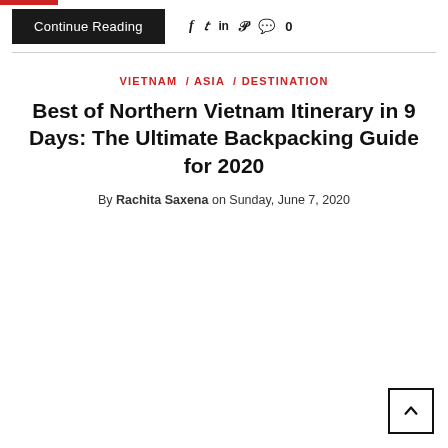Continue Reading  f  in  0
VIETNAM / ASIA / DESTINATION
Best of Northern Vietnam Itinerary in 9 Days: The Ultimate Backpacking Guide for 2020
By Rachita Saxena on Sunday, June 7, 2020